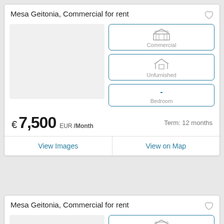Mesa Geitonia, Commercial for rent
Commercial
Unfurnished
- Bedroom
€ 7,500 EUR /Month
Term: 12 months
View Images
View on Map
Mesa Geitonia, Commercial for rent
Commercial